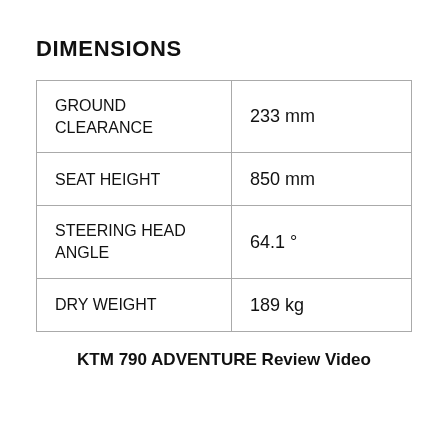DIMENSIONS
| GROUND CLEARANCE | 233 mm |
| SEAT HEIGHT | 850 mm |
| STEERING HEAD ANGLE | 64.1 ° |
| DRY WEIGHT | 189 kg |
KTM 790 ADVENTURE Review Video